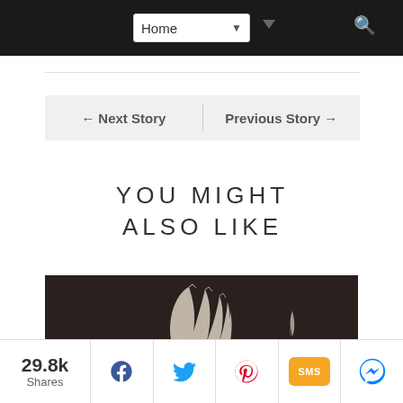Home (dropdown navigation)
← Next Story    Previous Story →
YOU MIGHT ALSO LIKE
[Figure (illustration): Dark background illustration showing white feathered wing on the left and a small feather on the right]
29.8k Shares — Share buttons: Facebook, Twitter, Pinterest, SMS, Messenger